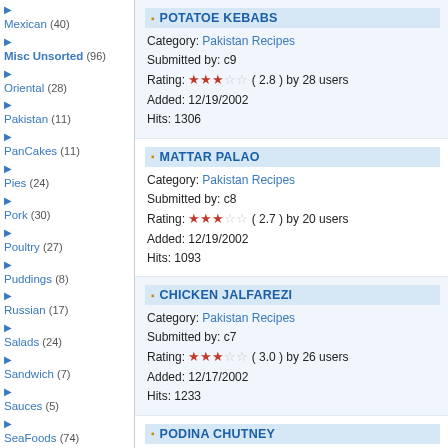Mexican (40)
Misc Unsorted (96)
Oriental (28)
Pakistan (11)
PanCakes (11)
Pies (24)
Pork (30)
Poultry (27)
Puddings (8)
Russian (17)
Salads (24)
Sandwich (7)
Sauces (5)
SeaFoods (74)
Soups (14)
Syrups (1)
Thai (11)
Vegetables (14)
POTATOE KEBABS - Category: Pakistan Recipes, Submitted by: c9, Rating: 2.8 by 28 users, Added: 12/19/2002, Hits: 1306
MATTAR PALAO - Category: Pakistan Recipes, Submitted by: c8, Rating: 2.7 by 20 users, Added: 12/19/2002, Hits: 1093
CHICKEN JALFAREZI - Category: Pakistan Recipes, Submitted by: c7, Rating: 3.0 by 26 users, Added: 12/17/2002, Hits: 1233
PODINA CHUTNEY - Category: Pakistan Recipes, Submitted by: c6, Rating: 2.9 by 15 users, Added: 12/17/2002, Hits: 1231
Total Recipes: 11 - Showing Page: 1 of 2  « Previo